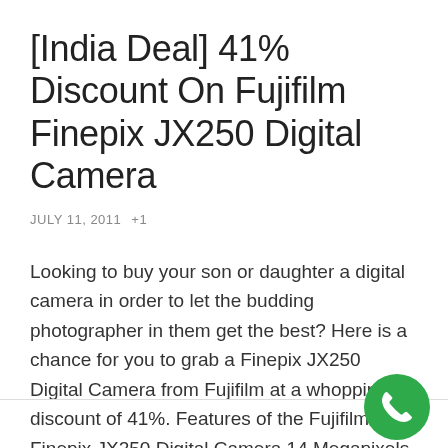[India Deal] 41% Discount On Fujifilm Finepix JX250 Digital Camera
JULY 11, 2011   +1
Looking to buy your son or daughter a digital camera in order to let the budding photographer in them get the best? Here is a chance for you to grab a Finepix JX250 Digital Camera from Fujifilm at a whopping discount of 41%. Features of the Fujifilm Finepix JX250 Digital Camera 14 Megapixels resolution 5X optical … Continue reading →
[Figure (illustration): Green circular phone/call button icon in the bottom right corner]